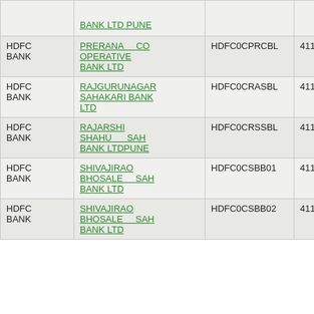| Bank | Branch Name | IFSC Code | MICR Code |
| --- | --- | --- | --- |
| HDFC BANK | BANK LTD PUNE |  |  |
| HDFC BANK | PRERANA CO OPERATIVE BANK LTD | HDFC0CPRCBL | 411164300 |
| HDFC BANK | RAJGURUNAGAR SAHAKARI BANK LTD | HDFC0CRASBL | 411164301 |
| HDFC BANK | RAJARSHI SHAHU SAH BANK LTDPUNE | HDFC0CRSSBL | 411353002 |
| HDFC BANK | SHIVAJIRAO BHOSALE SAH BANK LTD | HDFC0CSBB01 | 411291001 |
| HDFC BANK | SHIVAJIRAO BHOSALE SAH BANK LTD | HDFC0CSBB02 | 411291002 |